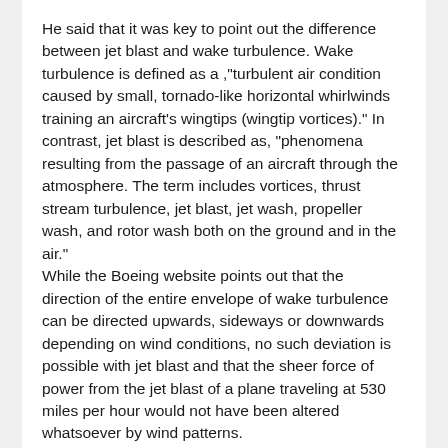He said that it was key to point out the difference between jet blast and wake turbulence. Wake turbulence is defined as a ,"turbulent air condition caused by small, tornado-like horizontal whirlwinds training an aircraft's wingtips (wingtip vortices)." In contrast, jet blast is described as, "phenomena resulting from the passage of an aircraft through the atmosphere. The term includes vortices, thrust stream turbulence, jet blast, jet wash, propeller wash, and rotor wash both on the ground and in the air."
While the Boeing website points out that the direction of the entire envelope of wake turbulence can be directed upwards, sideways or downwards depending on wind conditions, no such deviation is possible with jet blast and that the sheer force of power from the jet blast of a plane traveling at 530 miles per hour would not have been altered whatsoever by wind patterns.
Therefore the pilot states unequivocally that jet blast would have tossed people and cars around like rag dolls if they were 20 feet or less below a Boeing 757, as is claimed by eyewitness reports.